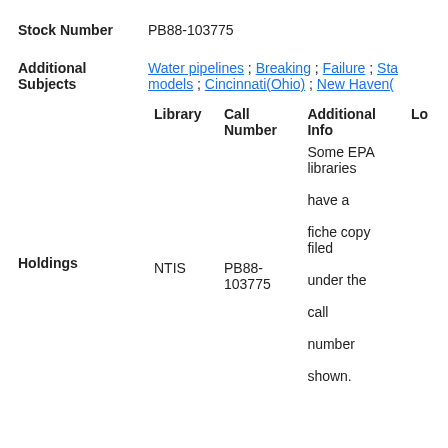Stock Number   PB88-103775
Additional Subjects   Water pipelines ; Breaking ; Failure ; Sta... models ; Cincinnati(Ohio) ; New Haven(
| Library | Call Number | Additional Info | Lo |
| --- | --- | --- | --- |
| NTIS | PB88-103775 | Some EPA libraries have a fiche copy filed under the call number shown. |  |